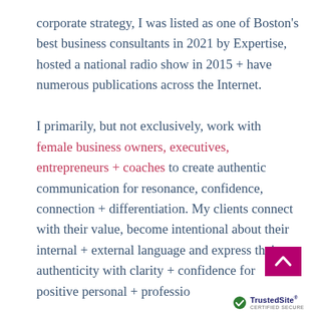corporate strategy, I was listed as one of Boston's best business consultants in 2021 by Expertise, hosted a national radio show in 2015 + have numerous publications across the Internet.

I primarily, but not exclusively, work with female business owners, executives, entrepreneurs + coaches to create authentic communication for resonance, confidence, connection + differentiation. My clients connect with their value, become intentional about their internal + external language and express their authenticity with clarity + confidence for positive personal + professio
[Figure (other): Pink scroll-to-top button (chevron/arrow up icon)]
[Figure (logo): TrustedSite CERTIFIED SECURE badge with checkmark icon]